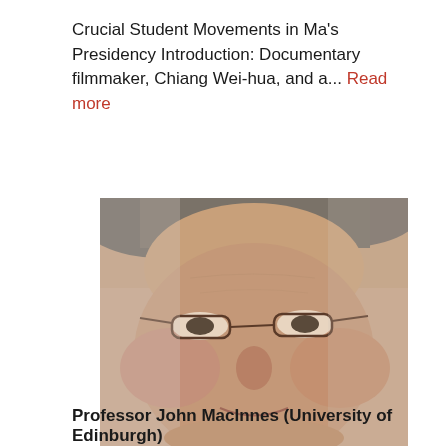Crucial Student Movements in Ma's Presidency Introduction: Documentary filmmaker, Chiang Wei-hua, and a... Read more
[Figure (photo): Close-up portrait photo of an elderly man with grey hair wearing thin-rimmed glasses, smiling slightly.]
Professor John MacInnes (University of Edinburgh)